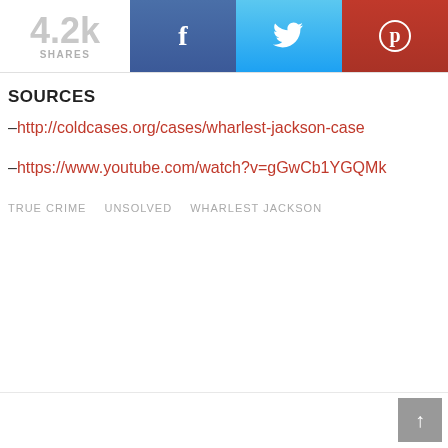[Figure (screenshot): Social share bar with 4.2k shares counter, Facebook (blue), Twitter (light blue), and Pinterest (red) buttons with icons]
SOURCES
–http://coldcases.org/cases/wharlest-jackson-case
–https://www.youtube.com/watch?v=gGwCb1YGQMk
TRUE CRIME   UNSOLVED   WHARLEST JACKSON
[Figure (screenshot): Scroll-to-top button (grey square with upward arrow) in bottom right corner]